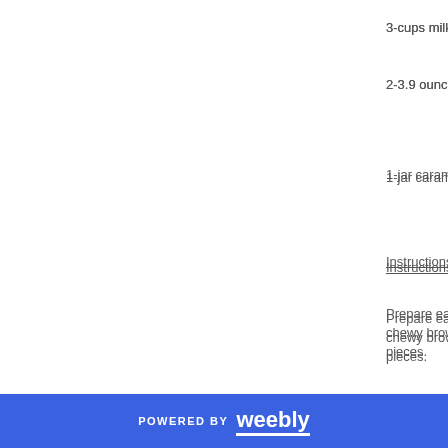3-cups milk (
2-3.9 ounce
1-jar carame
Instructions:
Prepare eac
chewy brow
pieces.
Beat cream c
beat in mars
topping & se
Stir together
then stir in re
Crumble 1/2
POWERED BY weebly